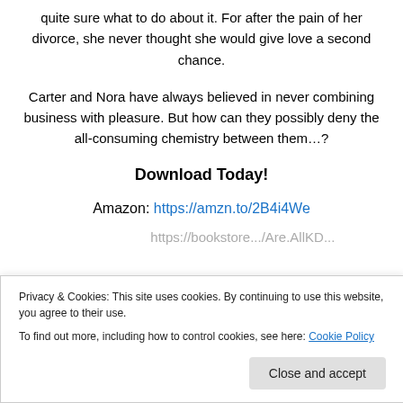quite sure what to do about it. For after the pain of her divorce, she never thought she would give love a second chance.
Carter and Nora have always believed in never combining business with pleasure. But how can they possibly deny the all-consuming chemistry between them…?
Download Today!
Amazon: https://amzn.to/2B4i4We
Privacy & Cookies: This site uses cookies. By continuing to use this website, you agree to their use.
To find out more, including how to control cookies, see here: Cookie Policy
Close and accept
Kobo: https://bit.ly/2NRigLy